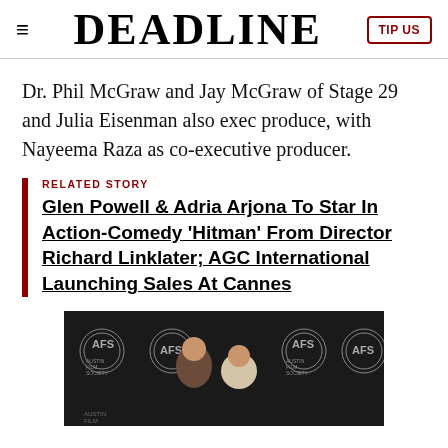≡  DEADLINE  TIP US
Dr. Phil McGraw and Jay McGraw of Stage 29 and Julia Eisenman also exec produce, with Nayeema Raza as co-executive producer.
RELATED STORY
Glen Powell & Adria Arjona To Star In Action-Comedy 'Hitman' From Director Richard Linklater; AGC International Launching Sales At Cannes
[Figure (photo): Two people posing in front of an Austin Film Society (AFS) branded backdrop at an event]